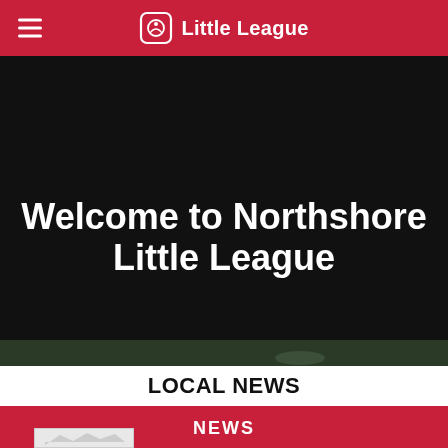Little League
Welcome to Northshore Little League
[Figure (photo): Dark hero background with baseball players photo strip at bottom]
LOCAL NEWS
NEWS
[Figure (photo): Small thumbnail image at bottom left of the page]